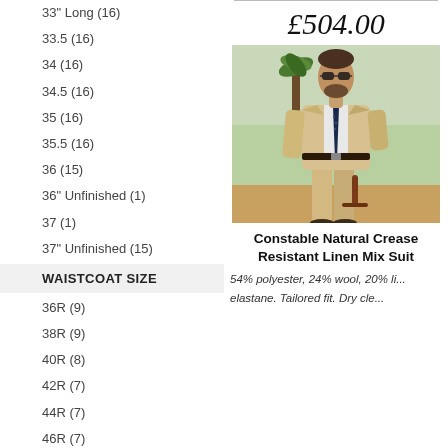33" Long  (16)
33.5  (16)
34  (16)
34.5  (16)
35  (16)
35.5  (16)
36  (15)
36" Unfinished  (1)
37  (1)
37" Unfinished  (15)
WAISTCOAT SIZE
36R  (9)
38R  (9)
40R  (8)
42R  (7)
44R  (7)
46R  (7)
£504.00
[Figure (photo): Man wearing a light tan/beige linen suit with a navy dotted tie and sunglasses, walking outdoors near palm trees.]
Constable Natural Crease Resistant Linen Mix Suit
54% polyester, 24% wool, 20% linen, 2% elastane. Tailored fit. Dry cle...